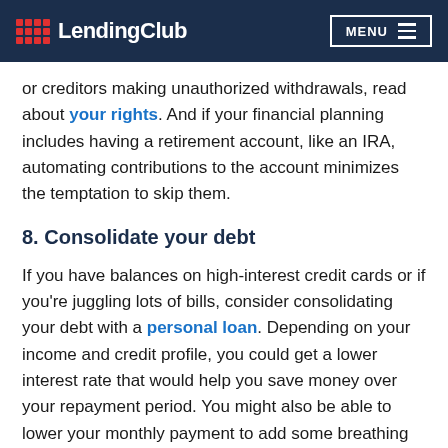LendingClub   MENU
or creditors making unauthorized withdrawals, read about your rights. And if your financial planning includes having a retirement account, like an IRA, automating contributions to the account minimizes the temptation to skip them.
8. Consolidate your debt
If you have balances on high-interest credit cards or if you're juggling lots of bills, consider consolidating your debt with a personal loan. Depending on your income and credit profile, you could get a lower interest rate that would help you save money over your repayment period. You might also be able to lower your monthly payment to add some breathing room in your personal finances. Remember that consolidating credit card debt only helps your finances if you avoid making new